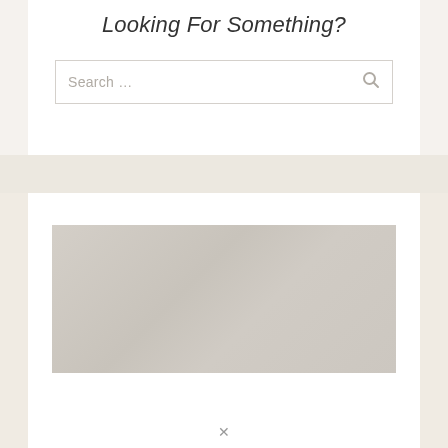Looking For Something?
[Figure (screenshot): Search box with placeholder text 'Search ...' and a search icon on the right]
[Figure (photo): A light gray/beige image placeholder rectangle with soft gradient tones]